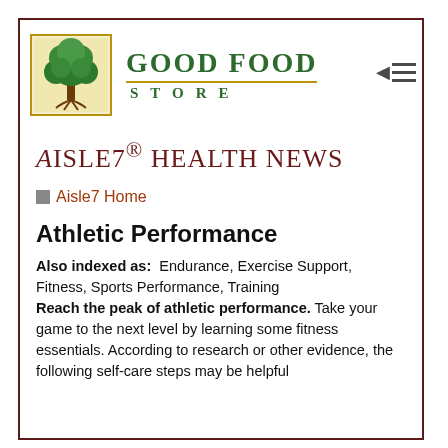[Figure (logo): Good Food Store logo with tree inside a golden-bordered box, with 'GOOD FOOD STORE' text in dark green]
AISLE7® Health News
Aisle7 Home
Athletic Performance
Also indexed as: Endurance, Exercise Support, Fitness, Sports Performance, Training
Reach the peak of athletic performance. Take your game to the next level by learning some fitness essentials. According to research or other evidence, the following self-care steps may be helpful